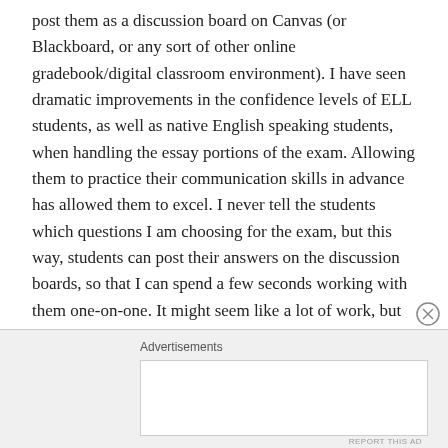post them as a discussion board on Canvas (or Blackboard, or any sort of other online gradebook/digital classroom environment). I have seen dramatic improvements in the confidence levels of ELL students, as well as native English speaking students, when handling the essay portions of the exam. Allowing them to practice their communication skills in advance has allowed them to excel. I never tell the students which questions I am choosing for the exam, but this way, students can post their answers on the discussion boards, so that I can spend a few seconds working with them one-on-one. It might seem like a lot of work, but truthfully, it's only about a ½ hour out of my week, usually.
Advertisements